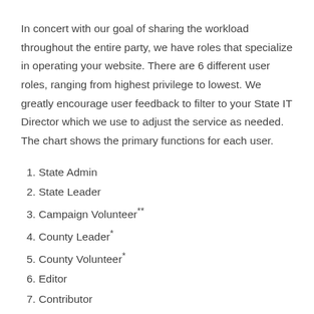In concert with our goal of sharing the workload throughout the entire party, we have roles that specialize in operating your website. There are 6 different user roles, ranging from highest privilege to lowest. We greatly encourage user feedback to filter to your State IT Director which we use to adjust the service as needed. The chart shows the primary functions for each user.
1. State Admin
2. State Leader
3. Campaign Volunteer**
4. County Leader*
5. County Volunteer*
6. Editor
7. Contributor